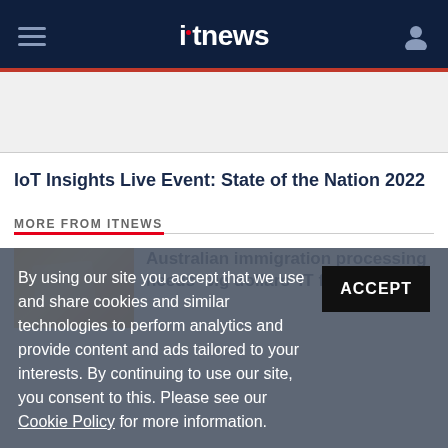itnews
IoT Insights Live Event: State of the Nation 2022
MORE FROM ITNEWS
[Figure (photo): Orange envelope thumbnail image for article about Australian immigration processing]
Australian immigration processing needs 'big dollars' IT fix
By using our site you accept that we use and share cookies and similar technologies to perform analytics and provide content and ads tailored to your interests. By continuing to use our site, you consent to this. Please see our Cookie Policy for more information.